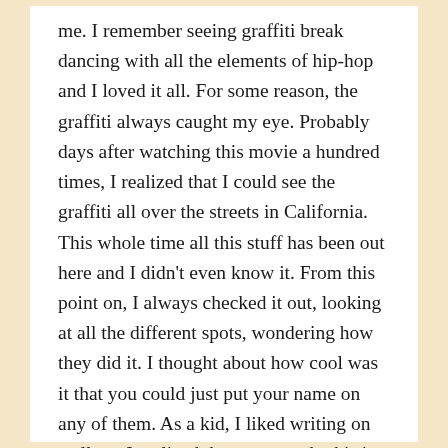me. I remember seeing graffiti break dancing with all the elements of hip-hop and I loved it all. For some reason, the graffiti always caught my eye. Probably days after watching this movie a hundred times, I realized that I could see the graffiti all over the streets in California. This whole time all this stuff has been out here and I didn't even know it. From this point on, I always checked it out, looking at all the different spots, wondering how they did it. I thought about how cool was it that you could just put your name on any of them. As a kid, I liked writing on walls so I realized that you can do this in the real world too.